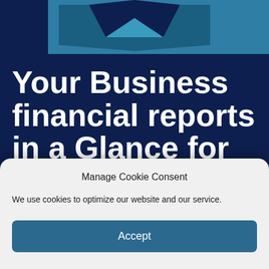[Figure (logo): Dark navy background with a partial hexagonal/envelope-shaped logo in teal/blue colors at the top center]
Your Business financial reports in a Glance for an
Manage Cookie Consent
We use cookies to optimize our website and our service.
Accept